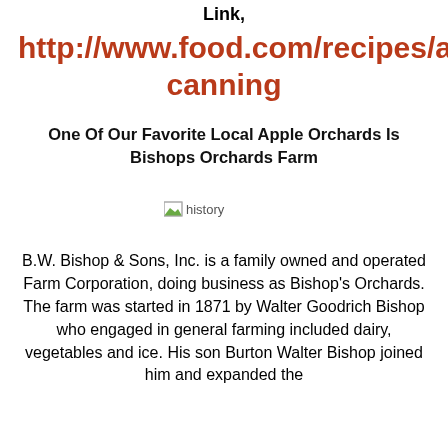Link,
http://www.food.com/recipes/apples-canning
One Of Our Favorite Local Apple Orchards Is Bishops Orchards Farm
[Figure (photo): A broken/missing image placeholder labeled 'history']
B.W. Bishop & Sons, Inc. is a family owned and operated Farm Corporation, doing business as Bishop's Orchards. The farm was started in 1871 by Walter Goodrich Bishop who engaged in general farming included dairy, vegetables and ice. His son Burton Walter Bishop joined him and expanded the